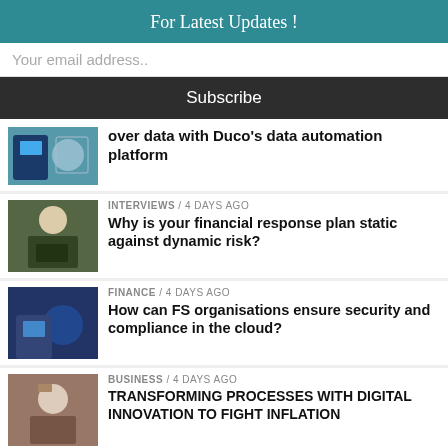For Latest Updates !
Your email address..
Subscribe
over data with Duco’s data automation platform
INTERVIEWS / 4 days ago
Why is your financial response plan static against dynamic risk?
FINANCE / 4 days ago
How can FS organisations ensure security and compliance in the cloud?
BUSINESS / 4 days ago
TRANSFORMING PROCESSES WITH DIGITAL INNOVATION TO FIGHT INFLATION